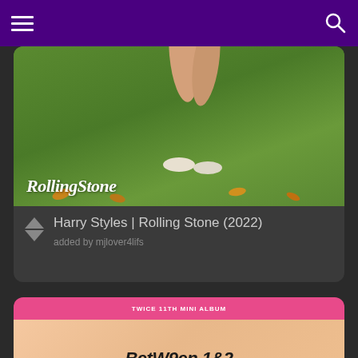Navigation bar with hamburger menu and search icon
[Figure (photo): Harry Styles Rolling Stone 2022 photoshoot - legs walking on grass lawn with Rolling Stone logo overlay]
Harry Styles | Rolling Stone (2022)
added by mjlover4lifs
[Figure (screenshot): TWICE 11th Mini Album 'Between 1&2' album sneak peek video thumbnail with JYP Official branding, group members in colorful outfits, play button overlay]